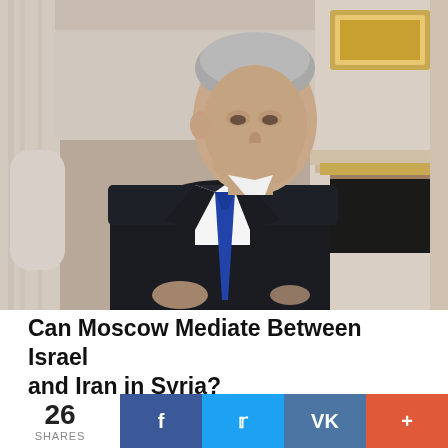[Figure (photo): A man in a dark suit with blue tie, seated at a formal meeting room, in front of an ornate white fireplace with gold decorations. The setting appears to be a formal government or diplomatic meeting room.]
Can Moscow Mediate Between Israel and Iran in Syria?
MARK N. KATZ | MAY 18, 2018 | RM EXCLUSIVES
26 SHARES   f   t   VK   +